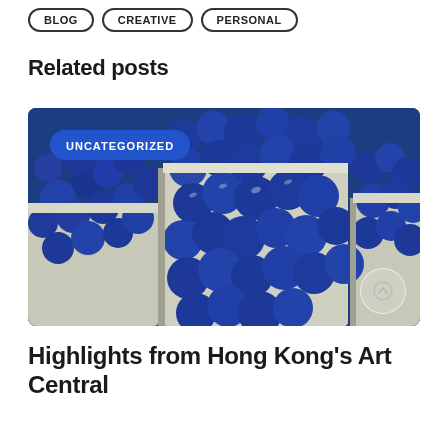BLOG
CREATIVE
PERSONAL
Related posts
[Figure (photo): Close-up photo of blueberries in cardboard pint containers, with a blue-toned color treatment. An 'UNCATEGORIZED' badge overlays the upper left area, and a circular scroll-up button appears in the lower right.]
Highlights from Hong Kong's Art Central